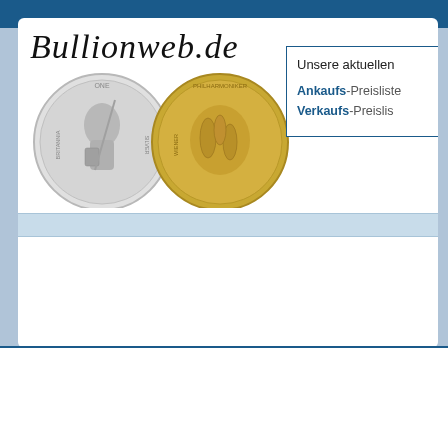[Figure (logo): Bullionweb.de logo with cursive/italic text and two coins (silver Britannia and gold Wiener Philharmoniker)]
Unsere aktuellen
Ankaufs-Preisliste
Verkaufs-Preisliste
HAUPTMENÜ
Startseite
FAQ
Kurse
Artikel
Sitemap
GOLDMÜNZEN
CHINA GOLD PANDA - SONDERAUSGABE
[Figure (photo): China Gold Panda coin in black packaging, showing gold coin with Bank of China inscription]